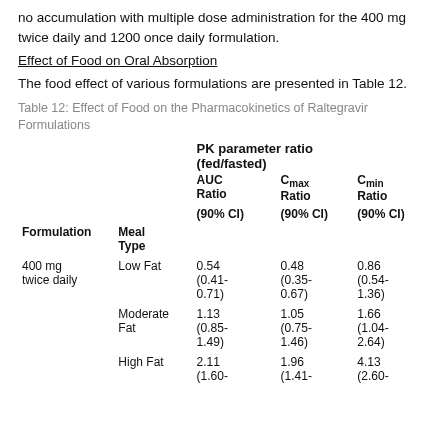Steady state is generally reached in 2 days, with little to no accumulation with multiple dose administration for the 400 mg twice daily and 1200 once daily formulation.
Effect of Food on Oral Absorption
The food effect of various formulations are presented in Table 12.
Table 12: Effect of Food on the Pharmacokinetics of Raltegravir Formulations
| Formulation | Meal Type | AUC Ratio (90% CI) | Cmax Ratio (90% CI) | Cmin Ratio (90% CI) |
| --- | --- | --- | --- | --- |
| 400 mg twice daily | Low Fat | 0.54 (0.41-0.71) | 0.48 (0.35-0.67) | 0.86 (0.54-1.36) |
|  | Moderate Fat | 1.13 (0.85-1.49) | 1.05 (0.75-1.46) | 1.66 (1.04-2.64) |
|  | High Fat | 2.11 (1.60- | 1.96 (1.41- | 4.13 (2.60- |